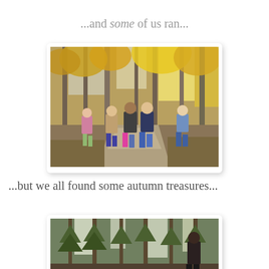...and some of us ran...
[Figure (photo): Five children running away from camera down a dirt path through an autumn forest with colorful yellow and orange foliage on the trees]
...but we all found some autumn treasures...
[Figure (photo): A person standing among tall pine trees in a forest, viewed from behind]